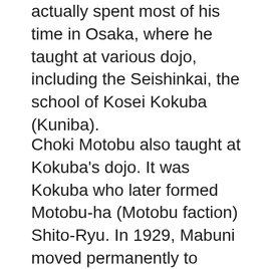actually spent most of his time in Osaka, where he taught at various dojo, including the Seishinkai, the school of Kosei Kokuba (Kuniba).
Choki Motobu also taught at Kokuba's dojo. It was Kokuba who later formed Motobu-ha (Motobu faction) Shito-Ryu. In 1929, Mabuni moved permanently to Osaka. Shortly thereafter, the Japanese martial arts sanctioning body, the Butokukai, pressured all karate schools to register by style name. At first, Mabuni